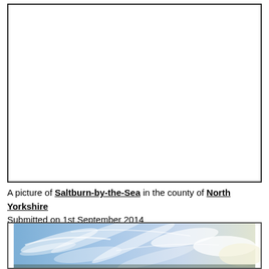[Figure (photo): Large white/blank photo placeholder with black border — photo of Saltburn-by-the-Sea not shown]
A picture of Saltburn-by-the-Sea in the county of North Yorkshire
Submitted on 1st September 2014
[Figure (photo): Photo of a blue sky with wispy cirrus clouds, taken at Saltburn-by-the-Sea, North Yorkshire. Submitted 1st September 2014.]